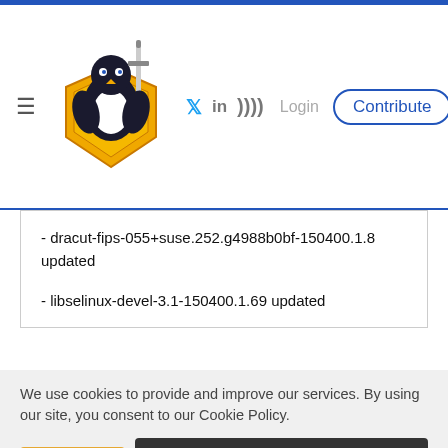[Figure (logo): Linux security shield penguin logo with sword]
- dracut-fips-055+suse.252.g4988b0bf-150400.1.8 updated
- libselinux-devel-3.1-150400.1.69 updated
We use cookies to provide and improve our services. By using our site, you consent to our Cookie Policy.
- libmlx4-1-38.1-150400.4.6 updated
- libf...